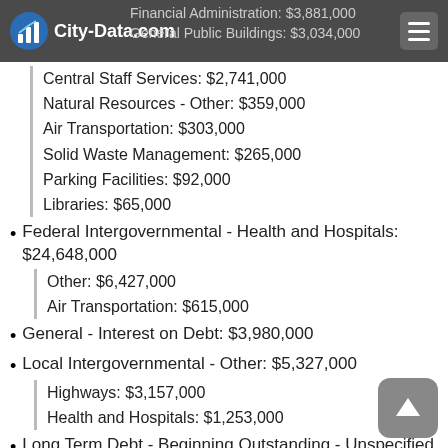City-Data.com | Financial Administration: $3,881,000 | General Public Buildings: $3,034,000
Central Staff Services: $2,741,000
Natural Resources - Other: $359,000
Air Transportation: $303,000
Solid Waste Management: $265,000
Parking Facilities: $92,000
Libraries: $65,000
Federal Intergovernmental - Health and Hospitals: $24,648,000
Other: $6,427,000
Air Transportation: $615,000
General - Interest on Debt: $3,980,000
Local Intergovernmental - Other: $5,327,000
Highways: $3,157,000
Health and Hospitals: $1,253,000
Long Term Debt - Beginning Outstanding - Unspecified Public Purpose: $99,773,000
Outstanding Unspecified Public Purpose: $94,444,000